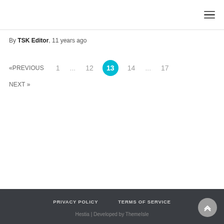≡
By TSK Editor, 11 years ago
«PREVIOUS  1  ...  12  13  14  ...  17  NEXT »
PRIVACY POLICY   TERMS OF SERVICE
Hestia | Developed by ThemeIsle